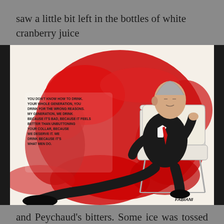saw a little bit left in the bottles of white cranberry juice
[Figure (illustration): Vintage illustration of a distinguished older man in a black suit with red tie, seated in a white chair against a red brushstroke background. Speech bubble text reads: 'You don't know how to drink. Your whole generation, you drink for the wrong reasons. My generation, we drink because it's bad, because it feels better than unbuttoning your collar, because we deserve it. We drink because it's what men do.' Artist signature: FABIANI]
and Peychaud's bitters. Some ice was tossed into the shaker. And as I cheerfully shook it up, I noticed the slice of cucumber used as a garnish from the above-mentioned "Métropolitain", still in its cocktail glass. Serendipity!